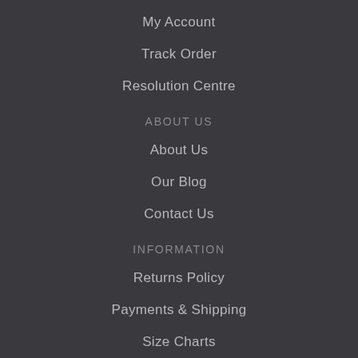My Account
Track Order
Resolution Centre
ABOUT US
About Us
Our Blog
Contact Us
INFORMATION
Returns Policy
Payments & Shipping
Size Charts
Privacy Policy
Terms of Use